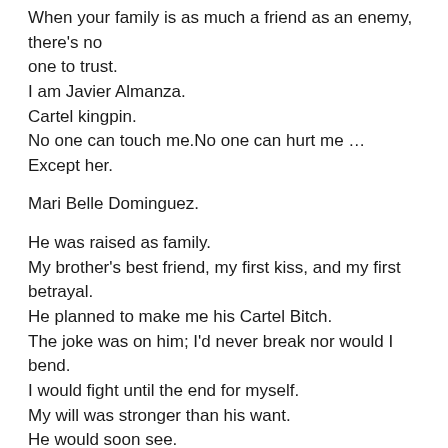When your family is as much a friend as an enemy, there's no one to trust.
I am Javier Almanza.
Cartel kingpin.
No one can touch me.No one can hurt me …
Except her.
Mari Belle Dominguez.
He was raised as family.
My brother's best friend, my first kiss, and my first betrayal.
He planned to make me his Cartel Bitch.
The joke was on him; I'd never break nor would I bend.
I would fight until the end for myself.
My will was stronger than his want.
He would soon see.
This is book one in the Almanza Crime Family Duet and a full-length standalone romance. This is a dark, edge of your seat romantic suspense and features a reptile more than a nice